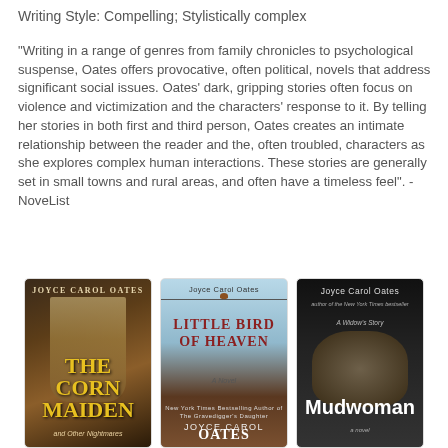Writing Style: Compelling; Stylistically complex
“Writing in a range of genres from family chronicles to psychological suspense, Oates offers provocative, often political, novels that address significant social issues. Oates’ dark, gripping stories often focus on violence and victimization and the characters’ response to it. By telling her stories in both first and third person, Oates creates an intimate relationship between the reader and the, often troubled, characters as she explores complex human interactions. These stories are generally set in small towns and rural areas, and often have a timeless feel”. - NoveList
[Figure (photo): Book cover: The Corn Maiden and Other Nightmares by Joyce Carol Oates - dark background with braided hair and gold text]
[Figure (photo): Book cover: Little Bird of Heaven by Joyce Carol Oates - light blue sky background with bird on wire and red title text]
[Figure (photo): Book cover: Mudwoman by Joyce Carol Oates - dark background with baby figure and white title text]